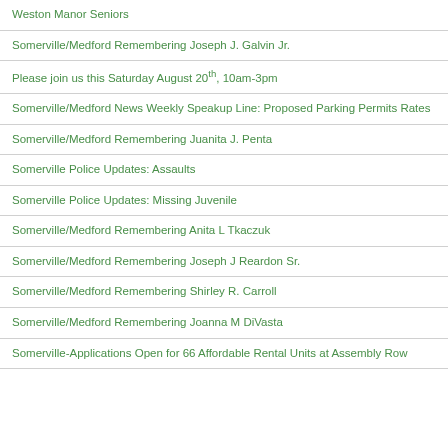Weston Manor Seniors
Somerville/Medford Remembering Joseph J. Galvin Jr.
Please join us this Saturday August 20th, 10am-3pm
Somerville/Medford News Weekly Speakup Line: Proposed Parking Permits Rates
Somerville/Medford Remembering Juanita J. Penta
Somerville Police Updates: Assaults
Somerville Police Updates: Missing Juvenile
Somerville/Medford Remembering Anita L Tkaczuk
Somerville/Medford Remembering Joseph J Reardon Sr.
Somerville/Medford Remembering Shirley R. Carroll
Somerville/Medford Remembering Joanna M DiVasta
Somerville-Applications Open for 66 Affordable Rental Units at Assembly Row